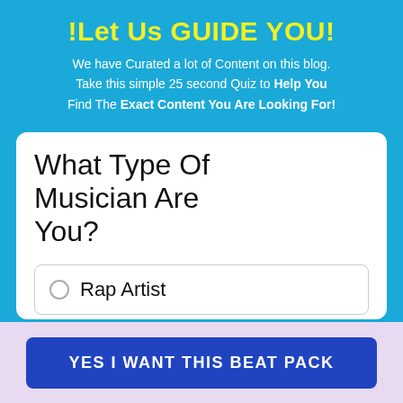!Let Us GUIDE YOU!
We have Curated a lot of Content on this blog. Take this simple 25 second Quiz to Help You Find The Exact Content You Are Looking For!
What Type Of Musician Are You?
Rap Artist
YES I WANT THIS BEAT PACK